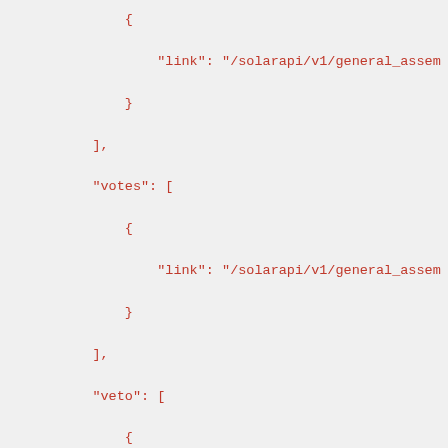JSON code snippet showing API structure with keys: link, votes, veto, disapprove, analysis, each containing arrays with objects having link properties pointing to /solarapi/v1/general_assem...